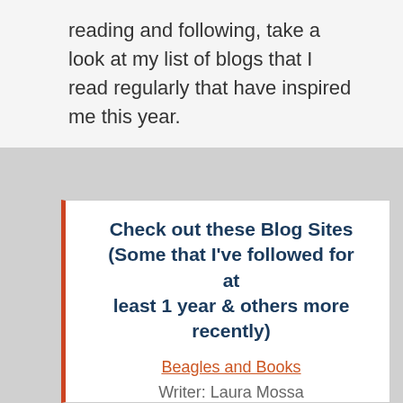reading and following, take a look at my list of blogs that I read regularly that have inspired me this year.
Check out these Blog Sites (Some that I've followed for at least 1 year & others more recently)
Beagles and Books
Writer: Laura Mossa
The Brown Bookshelf: United in Story
Writers: Don Tate, Kelly Starling